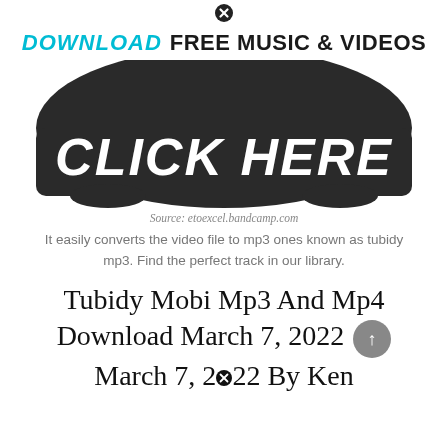[Figure (infographic): Top close/X icon circle button]
DOWNLOAD FREE MUSIC & VIDEOS
[Figure (infographic): Large dark rounded button shape with white bold italic text reading CLICK HERE]
Source: etoexcel.bandcamp.com
It easily converts the video file to mp3 ones known as tubidy mp3. Find the perfect track in our library.
Tubidy Mobi Mp3 And Mp4 Download March 7, 2022 March 7, 2022 By Ken